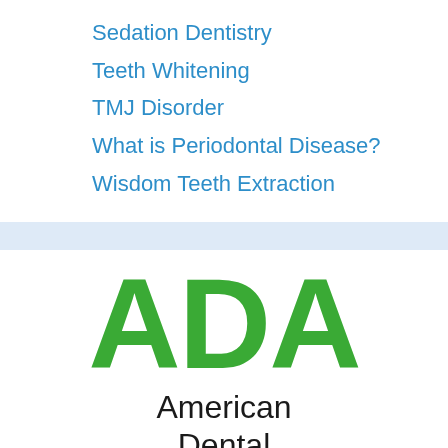Sedation Dentistry
Teeth Whitening
TMJ Disorder
What is Periodontal Disease?
Wisdom Teeth Extraction
[Figure (logo): ADA American Dental Association logo. Large green bold letters 'ADA' above the text 'American Dental' in black.]